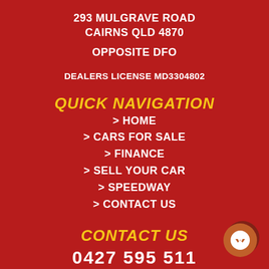293 MULGRAVE ROAD
CAIRNS QLD 4870
OPPOSITE DFO
DEALERS LICENSE MD3304802
QUICK NAVIGATION
> HOME
> CARS FOR SALE
> FINANCE
> SELL YOUR CAR
> SPEEDWAY
> CONTACT US
CONTACT US
0427 595 511
[Figure (illustration): Facebook Messenger chat button icon, circular orange/brown badge with white lightning bolt messenger logo]